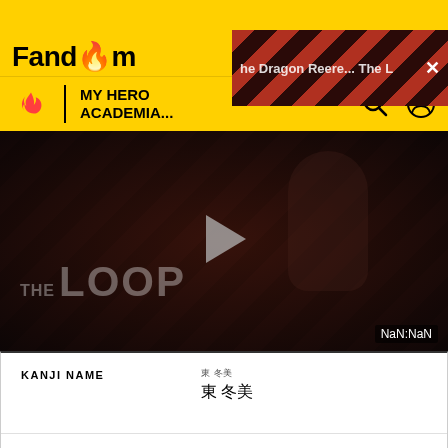Fandom
MY HERO ACADEMIA...
[Figure (screenshot): Video player showing 'THE LOOP' with a play button in the center and NaN:NaN timer at bottom right. Dark background with diagonal stripe pattern.]
| Field | Value |
| --- | --- |
| KANJI NAME | 東 冬美 |
| RŌMAJI NAME | Todoroki Fuyumi |